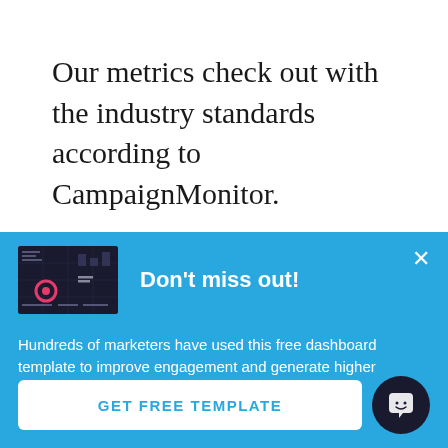Our metrics check out with the industry standards according to CampaignMonitor.
[Figure (screenshot): Pop-up banner with blue background showing a dashboard thumbnail image, 'Don't miss out!' heading, descriptive text about free dashboard template, a 'GET FREE TEMPLATE' button, a close X button, and a chat bubble icon.]